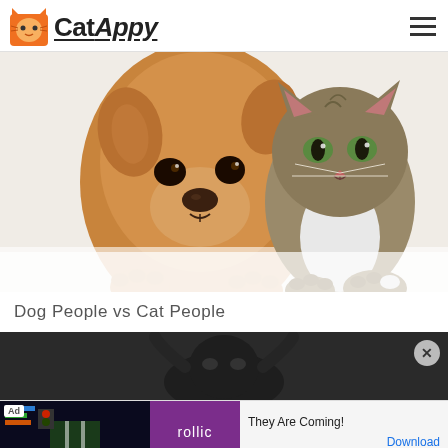CatAppy
[Figure (photo): A golden/brown dog and a tabby cat side by side, both resting their paws on a white surface, looking at the camera against a white background.]
Dog People vs Cat People
[Figure (photo): Dark image showing what appears to be a cat silhouette against a dark background, with a close button overlay.]
[Figure (infographic): Advertisement banner: Ad tag, dark game screenshot image, purple Rollic logo, text 'They Are Coming!', and a Download link.]